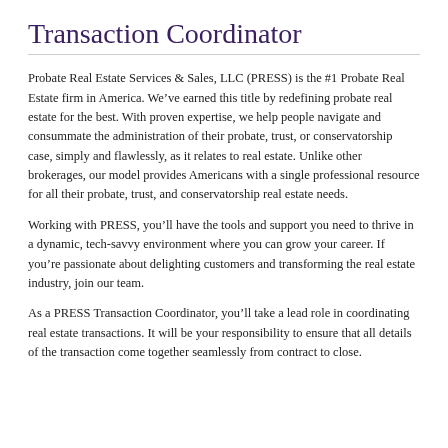Transaction Coordinator
Probate Real Estate Services & Sales, LLC (PRESS) is the #1 Probate Real Estate firm in America. We've earned this title by redefining probate real estate for the best. With proven expertise, we help people navigate and consummate the administration of their probate, trust, or conservatorship case, simply and flawlessly, as it relates to real estate. Unlike other brokerages, our model provides Americans with a single professional resource for all their probate, trust, and conservatorship real estate needs.
Working with PRESS, you'll have the tools and support you need to thrive in a dynamic, tech-savvy environment where you can grow your career. If you're passionate about delighting customers and transforming the real estate industry, join our team.
As a PRESS Transaction Coordinator, you'll take a lead role in coordinating real estate transactions. It will be your responsibility to ensure that all details of the transaction come together seamlessly from contract to close.